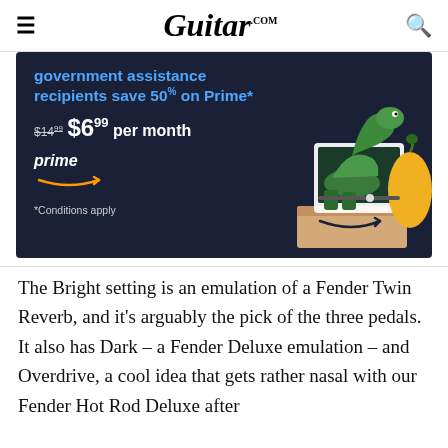Guitar.com
[Figure (infographic): Amazon Prime advertisement banner on dark navy background. Text reads: 'government assistance recipients save 50% on Prime*', '$14.99 $6.99 per month', Amazon Prime logo with smile arrow, '*Conditions apply'. Illustrated cartoon of a dinosaur/creature emerging from a tablet on an Amazon box.]
The Bright setting is an emulation of a Fender Twin Reverb, and it’s arguably the pick of the three pedals. It also has Dark – a Fender Deluxe emulation – and Overdrive, a cool idea that gets rather nasal with our Fender Hot Rod Deluxe after